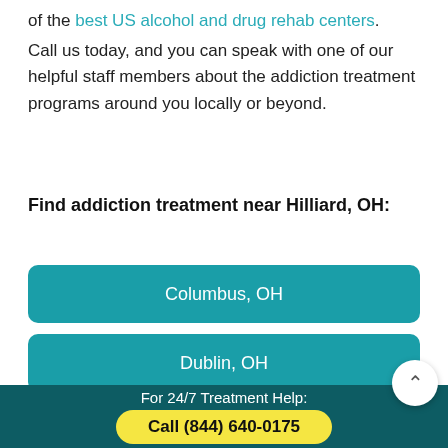of the best US alcohol and drug rehab centers.
Call us today, and you can speak with one of our helpful staff members about the addiction treatment programs around you locally or beyond.
Find addiction treatment near Hilliard, OH:
Columbus, OH
Dublin, OH
Grove City, OH
For 24/7 Treatment Help:
Call (844) 640-0175